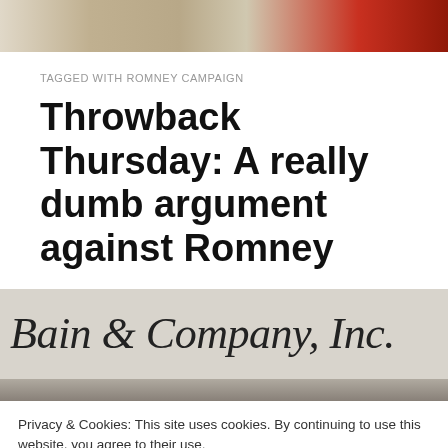[Figure (illustration): Top banner with comic-style illustration characters on an orange background]
TAGGED WITH ROMNEY CAMPAIGN
Throwback Thursday: A really dumb argument against Romney
[Figure (photo): Black and white photo showing Bain & Company, Inc. signage text]
Privacy & Cookies: This site uses cookies. By continuing to use this website, you agree to their use.
To find out more, including how to control cookies, see here: Cookie Policy
Close and accept